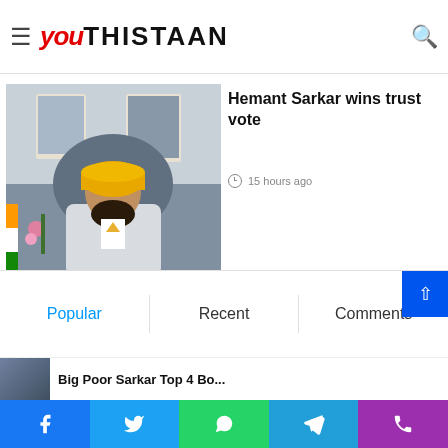Youthistaan
India Jodo Yatra Hindutva ...
Azad will do politics by taking hard line
[Figure (photo): Indian politician in yellow turban and white suit seated at a desk with framed portraits on the wall behind]
AAP government is after opponents
14 hours ago
Hemant Sarkar wins trust vote
15 hours ago
Popular
Recent
Comments
Facebook  Twitter  WhatsApp  Telegram  Phone